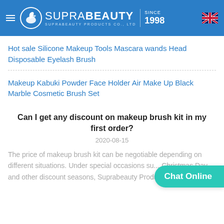SUPRABEAUTY SUPRABEAUTY PRODUCTS CO., LTD SINCE 1998
Hot sale Silicone Makeup Tools Mascara wands Head Disposable Eyelash Brush
Makeup Kabuki Powder Face Holder Air Make Up Black Marble Cosmetic Brush Set
Can I get any discount on makeup brush kit in my first order?
2020-08-15
The price of makeup brush kit can be negotiable depending on different situations. Under special occasions su... Christmas Day, and other discount seasons, Suprabeauty Products